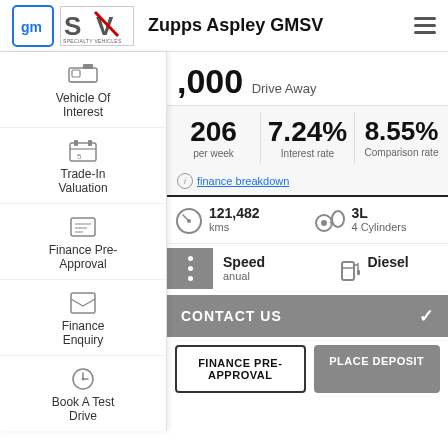Zupps Aspley GMSV
Vehicle Of Interest
Trade-In Valuation
Finance Pre-Approval
Finance Enquiry
Book A Test Drive
,000 Drive Away
206 per week | 7.24% Interest rate | 8.55% Comparison rate
finance breakdown
121,482 kms | 3L 4 Cylinders
Speed Manual | Diesel
CONTACT US
FINANCE PRE-APPROVAL
PLACE DEPOSIT